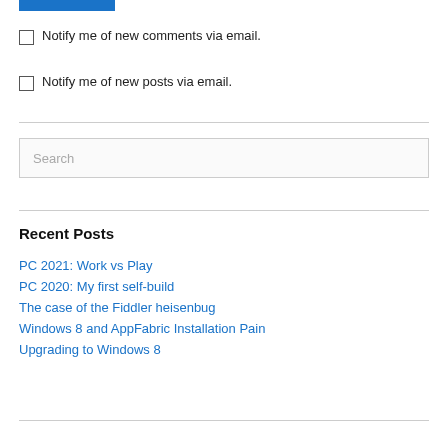[Figure (other): Blue rectangular bar at top]
Notify me of new comments via email.
Notify me of new posts via email.
Search
Recent Posts
PC 2021: Work vs Play
PC 2020: My first self-build
The case of the Fiddler heisenbug
Windows 8 and AppFabric Installation Pain
Upgrading to Windows 8